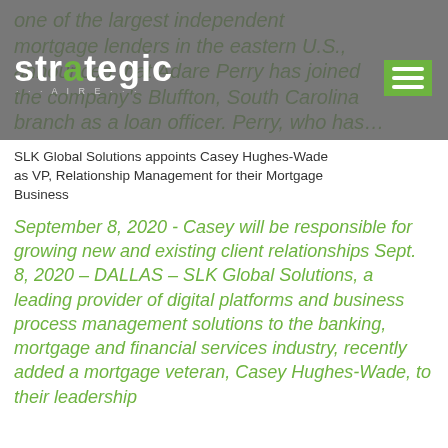one of the largest independent mortgage lenders in the eastern U.S., announced that Adare Perry has joined the company's Bluffton, South Carolina branch as a loan officer. Perry, who has…
[Figure (logo): Strategic logo with green letter 'a' accent and tagline 'STRATEGIC AIRE' in white on dark grey semi-transparent header bar]
SLK Global Solutions appoints Casey Hughes-Wade as VP, Relationship Management for their Mortgage Business
September 8, 2020 - Casey will be responsible for growing new and existing client relationships Sept. 8, 2020 – DALLAS – SLK Global Solutions, a leading provider of digital platforms and business process management solutions to the banking, mortgage and financial services industry, recently added a mortgage veteran, Casey Hughes-Wade, to their leadership